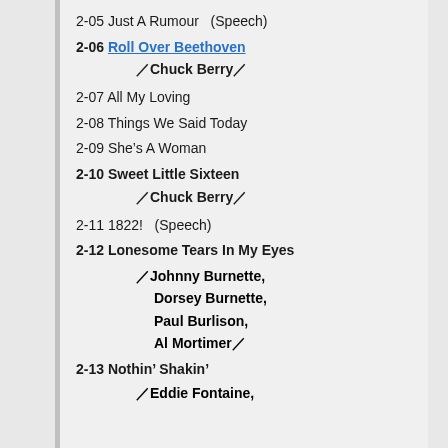2-05 Just A Rumour  (Speech)
2-06 Roll Over Beethoven
⁠Chuck Berry⁠
2-07 All My Loving
2-08 Things We Said Today
2-09 She’s A Woman
2-10 Sweet Little Sixteen
⁠Chuck Berry⁠
2-11 1822!  (Speech)
2-12 Lonesome Tears In My Eyes
⁠Johnny Burnette, Dorsey Burnette, Paul Burlison, Al Mortimer⁠
2-13 Nothin’ Shakin’
⁠Eddie Fontaine,